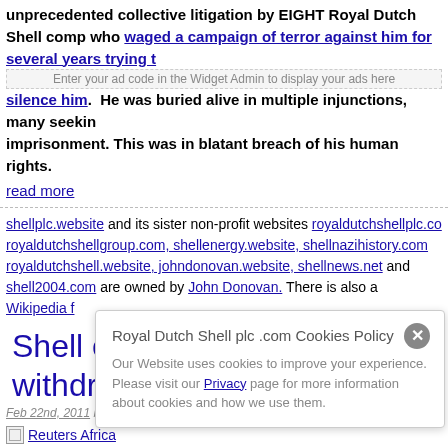unprecedented collective litigation by EIGHT Royal Dutch Shell comp who waged a campaign of terror against him for several years trying to silence him. He was buried alive in multiple injunctions, many seeking imprisonment. This was in blatant breach of his human rights.
Enter your ad code in the Widget Admin to display your ads here
read more
shellplc.website and its sister non-profit websites royaldutchshellplc.com royaldutchshellgroup.com, shellenergy.website, shellnazihistory.com royaldutchshell.website, johndonovan.website, shellnews.net and shell2004.com are owned by John Donovan. There is also a Wikipedia f
Shell completes staff withdrawal from Libya
Feb 22nd, 2011 by John Donovan. No comments yet
[Figure (other): Broken image placeholder linking to Reuters Africa]
Tue Feb 22. 2011 9:33am GMT
AMSTERDAM Feb 22 (Reuters) - Oil major Royal Dutch Shell said on that its expatriate employees and dependants in Libya, moved in relocate
"G uncertainty in Libya, Shell's expatriate staff have be Shell businesses